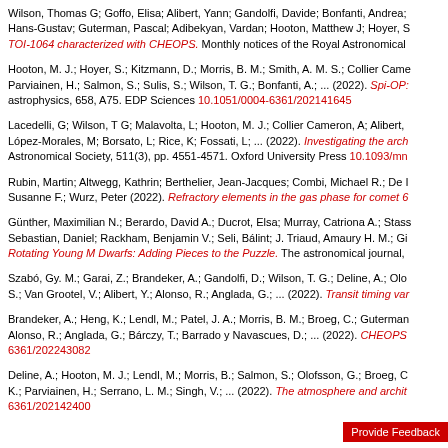Wilson, Thomas G; Goffo, Elisa; Alibert, Yann; Gandolfi, Davide; Bonfanti, Andrea; Hans-Gustav; Guterman, Pascal; Adibekyan, Vardan; Hooton, Matthew J; Hoyer, S. TOI-1064 characterized with CHEOPS. Monthly notices of the Royal Astronomical
Hooton, M. J.; Hoyer, S.; Kitzmann, D.; Morris, B. M.; Smith, A. M. S.; Collier Came Parviainen, H.; Salmon, S.; Sulis, S.; Wilson, T. G.; Bonfanti, A.; ... (2022). Spi-OP astrophysics, 658, A75. EDP Sciences 10.1051/0004-6361/202141645
Lacedelli, G; Wilson, T G; Malavolta, L; Hooton, M. J.; Collier Cameron, A; Alibert, López-Morales, M; Borsato, L; Rice, K; Fossati, L; ... (2022). Investigating the arch Astronomical Society, 511(3), pp. 4551-4571. Oxford University Press 10.1093/mn
Rubin, Martin; Altwegg, Kathrin; Berthelier, Jean-Jacques; Combi, Michael R.; De Susanne F.; Wurz, Peter (2022). Refractory elements in the gas phase for comet 6
Günther, Maximilian N.; Berardo, David A.; Ducrot, Elsa; Murray, Catriona A.; Stass Sebastian, Daniel; Rackham, Benjamin V.; Seli, Bálint; J. Triaud, Amaury H. M.; Gi Rotating Young M Dwarfs: Adding Pieces to the Puzzle. The astronomical journal,
Szabó, Gy. M.; Garai, Z.; Brandeker, A.; Gandolfi, D.; Wilson, T. G.; Deline, A.; Olo S.; Van Grootel, V.; Alibert, Y.; Alonso, R.; Anglada, G.; ... (2022). Transit timing var
Brandeker, A.; Heng, K.; Lendl, M.; Patel, J. A.; Morris, B. M.; Broeg, C.; Guterman Alonso, R.; Anglada, G.; Bárczy, T.; Barrado y Navascues, D.; ... (2022). CHEOPS 6361/202243082
Deline, A.; Hooton, M. J.; Lendl, M.; Morris, B.; Salmon, S.; Olofsson, G.; Broeg, C K.; Parviainen, H.; Serrano, L. M.; Singh, V.; ... (2022). The atmosphere and archit 6361/202142400